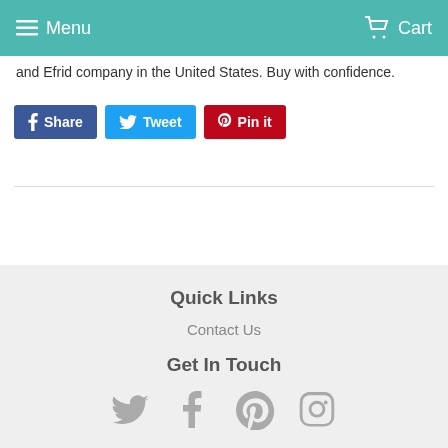Menu | Cart
and Efrid company in the United States. Buy with confidence.
[Figure (screenshot): Social sharing buttons: Share (Facebook, blue), Tweet (Twitter, light blue), Pin it (Pinterest, red)]
Quick Links
Contact Us
Get In Touch
[Figure (infographic): Social media icons: Twitter bird, Facebook f, Pinterest P, Instagram camera — all in grey]